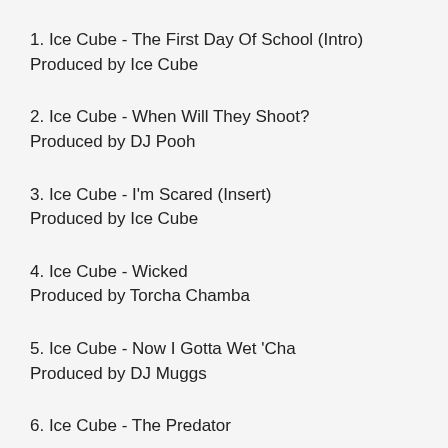1. Ice Cube - The First Day Of School (Intro)
Produced by Ice Cube
2. Ice Cube - When Will They Shoot?
Produced by DJ Pooh
3. Ice Cube - I'm Scared (Insert)
Produced by Ice Cube
4. Ice Cube - Wicked
Produced by Torcha Chamba
5. Ice Cube - Now I Gotta Wet 'Cha
Produced by DJ Muggs
6. Ice Cube - The Predator